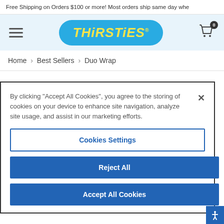Free Shipping on Orders $100 or more! Most orders ship same day whe
[Figure (logo): Thirsties brand logo: blue rounded rectangle with yellow italic bold text 'THiRSTiES']
Home > Best Sellers > Duo Wrap
By clicking “Accept All Cookies”, you agree to the storing of cookies on your device to enhance site navigation, analyze site usage, and assist in our marketing efforts.
Cookies Settings
Reject All
Accept All Cookies